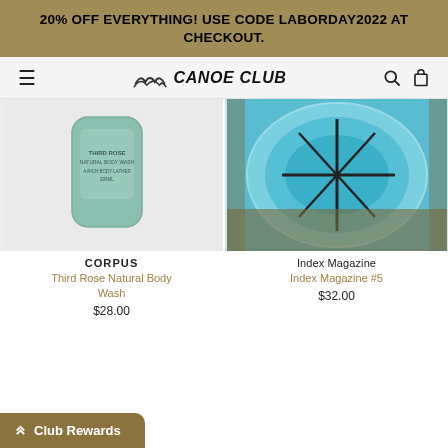20% OFF EVERYTHING! USE CODE LABORDAY2022 AT CHECKOUT.
CANOE CLUB
[Figure (photo): Product photo of a green cylindrical container labeled Third Rose Natural Body Wash by CORPUS on a light grey background.]
CORPUS
Third Rose Natural Body Wash
$28.00
[Figure (photo): Aerial photo of a circular structure or pool with blue/turquoise water and dark lines, viewed from above.]
Index Magazine
Index Magazine #5
$32.00
Club Rewards